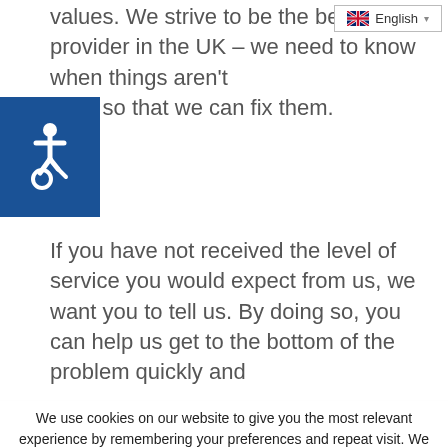values. We strive to be the best w... provider in the UK – we need to know when things aren't king, so that we can fix them.
If you have not received the level of service you would expect from us, we want you to tell us. By doing so, you can help us get to the bottom of the problem quickly and
We use cookies on our website to give you the most relevant experience by remembering your preferences and repeat visit. We need your consent to set cookies on your device. To agree, click Accept. You may opt out at any time by visiting the Cookie Settings.
ACCEPT
COOKIE SETTINGS
OPT OUT
PRIVACY POLICY